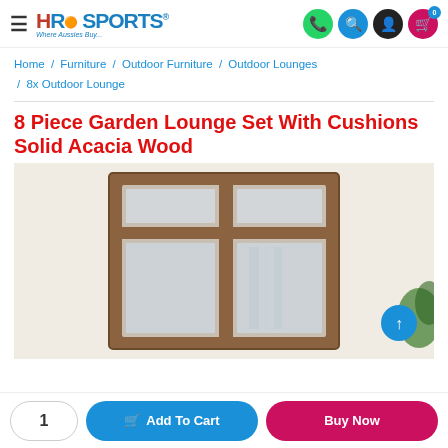HR Sports — Where Aussies Buy...
Home / Furniture / Outdoor Furniture / Outdoor Lounges / 8x Outdoor Lounge
8 Piece Garden Lounge Set With Cushions Solid Acacia Wood
[Figure (photo): Product photo showing a wooden window frame with glass panels against a light-colored wall, displayed as the product image for an outdoor lounge set.]
1  Add To Cart  Buy Now